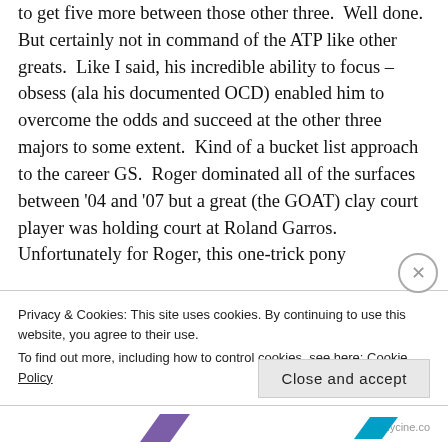to get five more between those other three. Well done. But certainly not in command of the ATP like other greats. Like I said, his incredible ability to focus – obsess (ala his documented OCD) enabled him to overcome the odds and succeed at the other three majors to some extent. Kind of a bucket list approach to the career GS. Roger dominated all of the surfaces between '04 and '07 but a great (the GOAT) clay court player was holding court at Roland Garros. Unfortunately for Roger, this one-trick pony
Privacy & Cookies: This site uses cookies. By continuing to use this website, you agree to their use.
To find out more, including how to control cookies, see here: Cookie Policy
Close and accept
nunnycine.co